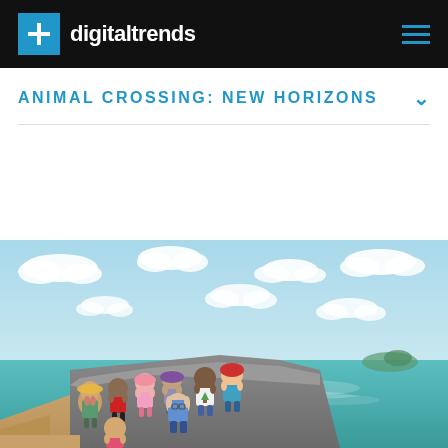digitaltrends
ANIMAL CROSSING: NEW HORIZONS
[Figure (screenshot): Animal Crossing: New Horizons game screenshot showing multiple colorful cartoon villager characters standing on a rocky cliff overlooking a teal ocean, with a bright blue sky filled with white clouds in the background and a small island visible in the distance.]